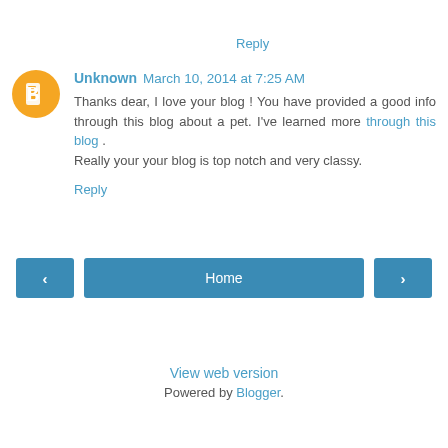Reply
Unknown  March 10, 2014 at 7:25 AM
Thanks dear, I love your blog ! You have provided a good info through this blog about a pet. I've learned more through this blog . Really your your blog is top notch and very classy.
Reply
Home
View web version
Powered by Blogger.